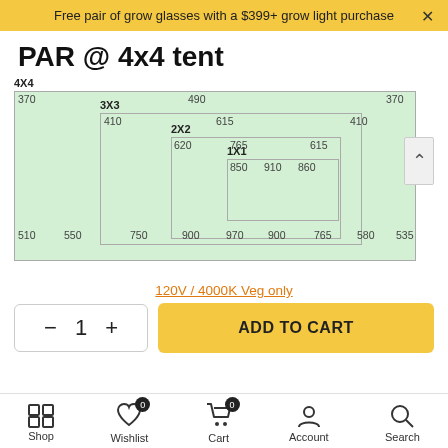Free pair of grow glasses with a $399+ grow light purchase
PAR @ 4x4 tent
[Figure (infographic): Nested PAR value diagram showing concentric rectangles labeled 4X4, 3X3, 2X2, 1X1 with PAR values at corners and centers: 4X4 row: 370, 490, 370; 3X3 row: 410, 615, 410; 2X2 row: 620, 765, 615; 1X1 row: 850, 910, 860; Bottom row: 510, 550, 750, 900, 970, 900, 765, 580, 535]
120V / 4000K Veg only
ADD TO CART
Shop   Wishlist   Cart   Account   Search